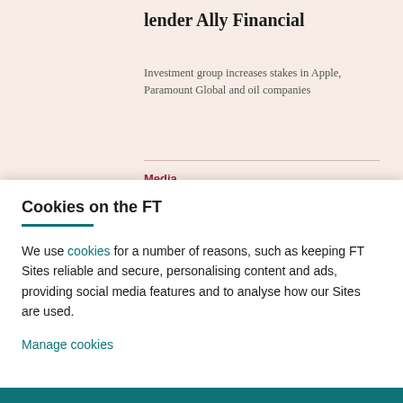lender Ally Financial
Investment group increases stakes in Apple, Paramount Global and oil companies
AUGUST 8, 2022
Media
Celebrity authors and pro golfers
Cookies on the FT
We use cookies for a number of reasons, such as keeping FT Sites reliable and secure, personalising content and ads, providing social media features and to analyse how our Sites are used.
Manage cookies
Accept & continue